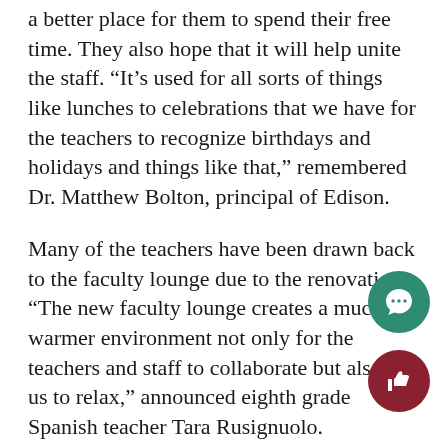a better place for them to spend their free time. They also hope that it will help unite the staff. “It’s used for all sorts of things like lunches to celebrations that we have for the teachers to recognize birthdays and holidays and things like that,” remembered Dr. Matthew Bolton, principal of Edison.
Many of the teachers have been drawn back to the faculty lounge due to the renovations. “The new faculty lounge creates a much warmer environment not only for the teachers and staff to collaborate but also for us to relax,” announced eighth grade Spanish teacher Tara Rusignuolo.
“Everybody’s going to want to be there again,” added sixth and seventh grade Orchestra teacher Mrs. Amanda Gant.
[Figure (illustration): Teal circular comment/speech-bubble button icon]
[Figure (illustration): Dark red circular thumbs-up like button icon]